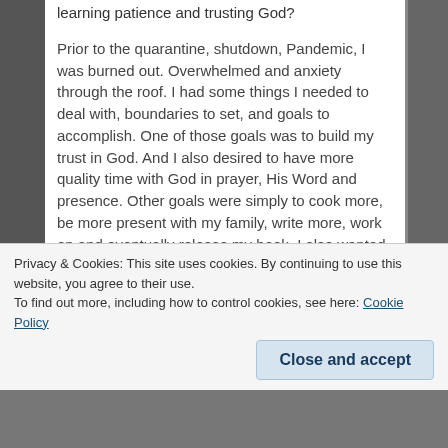learning patience and trusting God?
Prior to the quarantine, shutdown, Pandemic, I was burned out. Overwhelmed and anxiety through the roof. I had some things I needed to deal with, boundaries to set, and goals to accomplish. One of those goals was to build my trust in God. And I also desired to have more quality time with God in prayer, His Word and presence. Other goals were simply to cook more, be more present with my family, write more, work on and eventually release my book. I also wanted to practice more self-care. I needed more self-care.
Using my time wisely and accomplishing these goals haven't been easy and I am far from perfectly disciplined, if there is such a thing. However, by the
Privacy & Cookies: This site uses cookies. By continuing to use this website, you agree to their use.
To find out more, including how to control cookies, see here: Cookie Policy
Close and accept